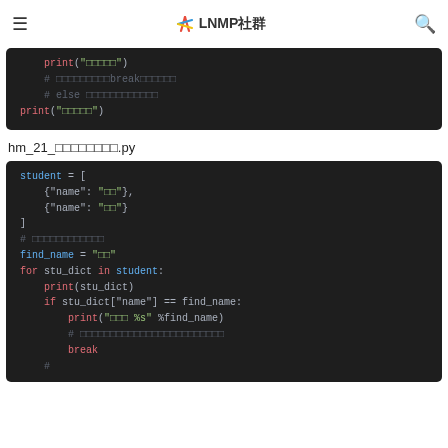≡  LNMP社群  🔍
[Figure (screenshot): Code block showing Python print statement and comments about break and else]
hm_21_□□□□□□□□.py
[Figure (screenshot): Python code block showing student list with name dicts, find_name variable, for loop over student list with print and if condition checking name equality, then print and break]